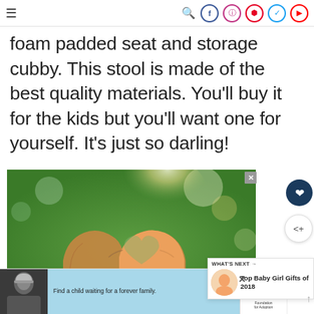Navigation bar with hamburger menu and social icons: search, Facebook, Instagram, Pinterest, Twitter, YouTube
foam padded seat and storage cubby. This stool is made of the best quality materials. You'll buy it for the kids but you'll want one for yourself. It's just so darling!
[Figure (photo): Two hands forming a heart shape against a blurred green outdoor background with sunlight]
WHAT'S NEXT → Top Baby Girl Gifts of 2018
[Figure (photo): Bottom advertisement strip with a person in a beanie hat, a light blue background with text, Dave Thomas Foundation for Adoption logo, and a W° branding element]